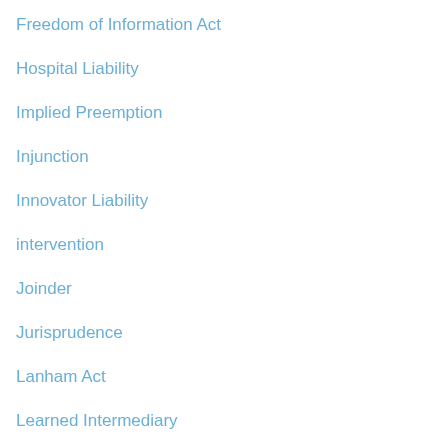Freedom of Information Act
Hospital Liability
Implied Preemption
Injunction
Innovator Liability
intervention
Joinder
Jurisprudence
Lanham Act
Learned Intermediary
Legislation
Lists